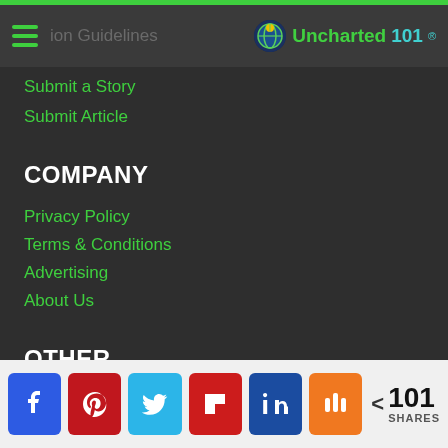Submission Guidelines — Uncharted101
Submit a Story
Submit Article
COMPANY
Privacy Policy
Terms & Conditions
Advertising
About Us
OTHER
[Figure (infographic): Social share bar with Facebook, Pinterest, Twitter, Flipboard, LinkedIn, Mix buttons and 101 SHARES count]